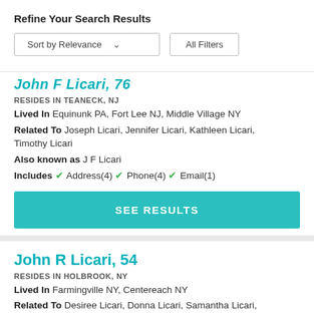Refine Your Search Results
Sort by Relevance   All Filters
John F Licari, 76
RESIDES IN TEANECK, NJ
Lived In Equinunk PA, Fort Lee NJ, Middle Village NY
Related To Joseph Licari, Jennifer Licari, Kathleen Licari, Timothy Licari
Also known as J F Licari
Includes ✔ Address(4) ✔ Phone(4) ✔ Email(1)
SEE RESULTS
John R Licari, 54
RESIDES IN HOLBROOK, NY
Lived In Farmingville NY, Centereach NY
Related To Desiree Licari, Donna Licari, Samantha Licari, Nicolette Licari, Renee Licari